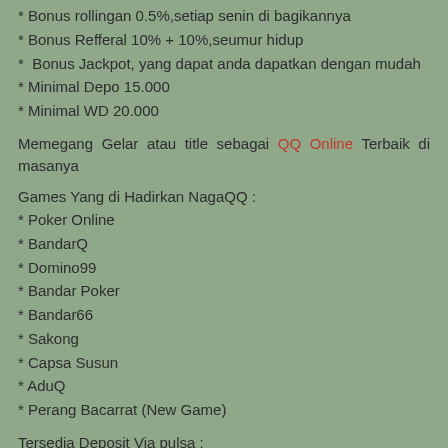* Bonus rollingan 0.5%,setiap senin di bagikannya
* Bonus Refferal 10% + 10%,seumur hidup
*  Bonus Jackpot, yang dapat anda dapatkan dengan mudah
* Minimal Depo 15.000
* Minimal WD 20.000
Memegang Gelar atau title sebagai QQ Online Terbaik di masanya
Games Yang di Hadirkan NagaQQ :
* Poker Online
* BandarQ
* Domino99
* Bandar Poker
* Bandar66
* Sakong
* Capsa Susun
* AduQ
* Perang Bacarrat (New Game)
Tersedia Deposit Via pulsa :